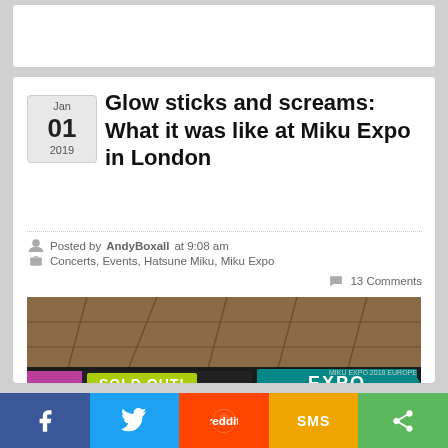Glow sticks and screams: What it was like at Miku Expo in London
Posted by AndyBoxall at 9:08 am
Concerts, Events, Hatsune Miku, Miku Expo
13 Comments
[Figure (photo): Exterior of Miku Expo Europe venue showing a large LED sign reading 'SOLD OUT' and 'EXPO EUROPE', with brown wooden ceiling and glass storefront]
f  (Facebook share button)
(Twitter share button)
(Reddit share button)
SMS (SMS share button)
(More share button)